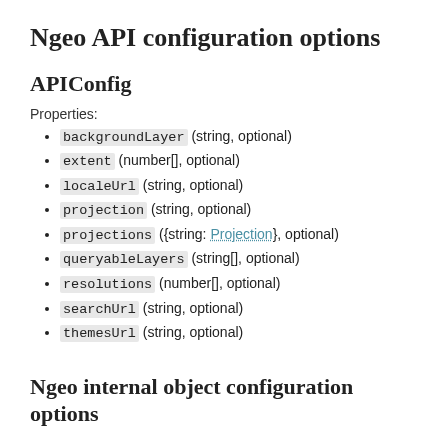Ngeo API configuration options
APIConfig
Properties:
backgroundLayer (string, optional)
extent (number[], optional)
localeUrl (string, optional)
projection (string, optional)
projections ({string: Projection}, optional)
queryableLayers (string[], optional)
resolutions (number[], optional)
searchUrl (string, optional)
themesUrl (string, optional)
Ngeo internal object configuration options